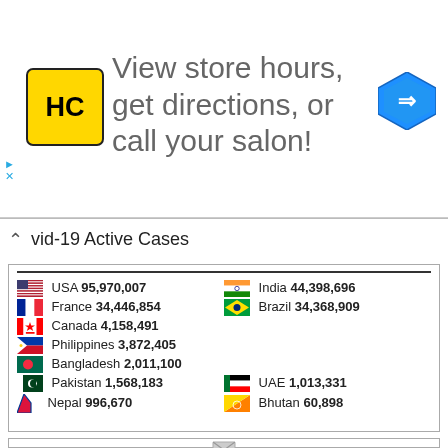[Figure (infographic): Advertisement banner: HC logo, text 'View store hours, get directions, or call your salon!', arrow icon]
vid-19 Active Cases
| Country | Cases | Country | Cases |
| --- | --- | --- | --- |
| USA | 95,970,007 | India | 44,398,696 |
| France | 34,446,854 | Brazil | 34,368,909 |
| Canada | 4,158,491 |  |  |
| Philippines | 3,872,405 |  |  |
| Bangladesh | 2,011,100 |  |  |
| Pakistan | 1,568,183 | UAE | 1,013,331 |
| Nepal | 996,670 | Bhutan | 60,898 |